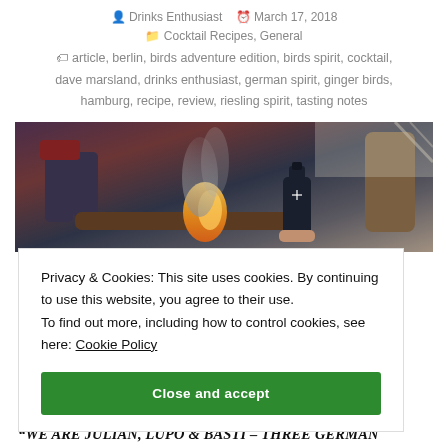Drinks Enthusiast   March 17, 2018
Cocktail Recipes, General
article, berlin, birds adventure edition, birds spirit, cocktail, dave marsland, drinks enthusiast, german spirit, ginger birds, hamburg, recipe, review, riesling spirit, tasting notes
[Figure (photo): Two people outdoors near a campfire with smoke, one holding a dark bottle of spirits]
Privacy & Cookies: This site uses cookies. By continuing to use this website, you agree to their use.
To find out more, including how to control cookies, see here: Cookie Policy
Close and accept
“WE ARE JULIAN, LUPO & BASTI – THREE GERMAN